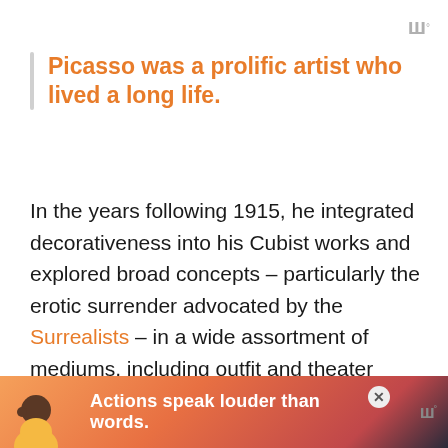w° (logo icon)
Picasso was a prolific artist who lived a long life.
In the years following 1915, he integrated decorativeness into his Cubist works and explored broad concepts – particularly the erotic surrender advocated by the Surrealists – in a wide assortment of mediums, including outfit and theater designs, sculptures, prints, ceramics, watercolor paintings, and public works. He also started working on image suites that explored aspects of the creative process such as the artist's workshop and the relationship between painter and model.
[Figure (infographic): Advertisement banner at bottom: colorful gradient background with a figure of a person and text 'Actions speak louder than words.' in white bold font, with a close button and logo icon on the right.]